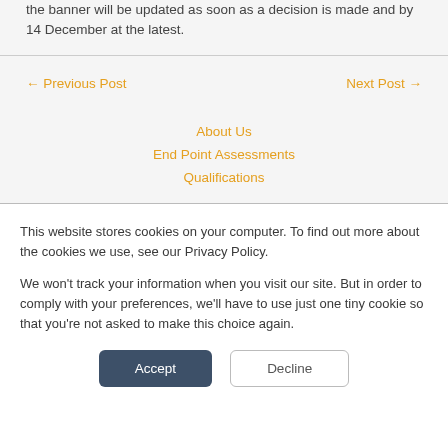the banner will be updated as soon as a decision is made and by 14 December at the latest.
← Previous Post
Next Post →
About Us
End Point Assessments
Qualifications
This website stores cookies on your computer. To find out more about the cookies we use, see our Privacy Policy.
We won't track your information when you visit our site. But in order to comply with your preferences, we'll have to use just one tiny cookie so that you're not asked to make this choice again.